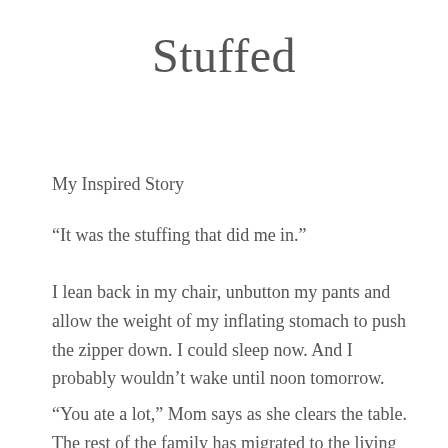Stuffed
My Inspired Story
“It was the stuffing that did me in.”
I lean back in my chair, unbutton my pants and allow the weight of my inflating stomach to push the zipper down. I could sleep now. And I probably wouldn’t wake until noon tomorrow.
“You ate a lot,” Mom says as she clears the table. The rest of the family has migrated to the living